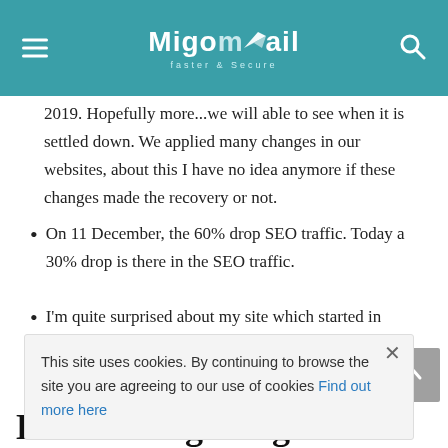Migomail — faster & Secure
2019. Hopefully more...we will able to see when it is settled down. We applied many changes in our websites, about this I have no idea anymore if these changes made the recovery or not.
On 11 December, the 60% drop SEO traffic. Today a 30% drop is there in the SEO traffic.
I'm quite surprised about my site which started in getting around 30% more visitors right after the completion of this update. I hope that it's not just a fluke or a mistake.
This site uses cookies. By continuing to browse the site you are agreeing to our use of cookies Find out more here
Latest Google Algorithm